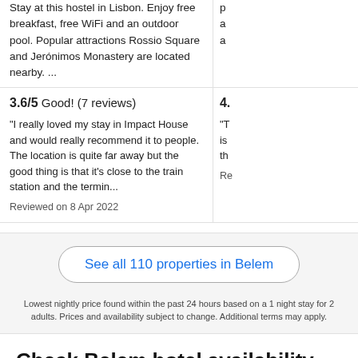Stay at this hostel in Lisbon. Enjoy free breakfast, free WiFi and an outdoor pool. Popular attractions Rossio Square and Jerónimos Monastery are located nearby. ...
3.6/5 Good! (7 reviews)
"I really loved my stay in Impact House and would really recommend it to people. The location is quite far away but the good thing is that it's close to the train station and the termin...
Reviewed on 8 Apr 2022
See all 110 properties in Belem
Lowest nightly price found within the past 24 hours based on a 1 night stay for 2 adults. Prices and availability subject to change. Additional terms may apply.
Check Belem hotel availability
Tonight
29 Aug - 30 Aug
Tomorrow night
30 Aug - 31 Aug